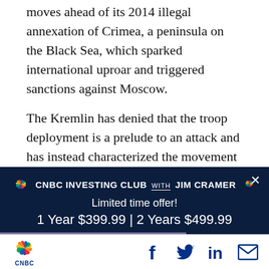moves ahead of its 2014 illegal annexation of Crimea, a peninsula on the Black Sea, which sparked international uproar and triggered sanctions against Moscow.
The Kremlin has denied that the troop deployment is a prelude to an attack and has instead characterized the movement as a military
[Figure (infographic): CNBC Investing Club with Jim Cramer advertisement overlay on dark navy background. Shows 'Limited time offer! 1 Year $399.99 | 2 Years $499.99' with a 'BECOME A MEMBER' button and a close (X) button.]
CNBC logo with social sharing icons: Facebook, Twitter, LinkedIn, Email